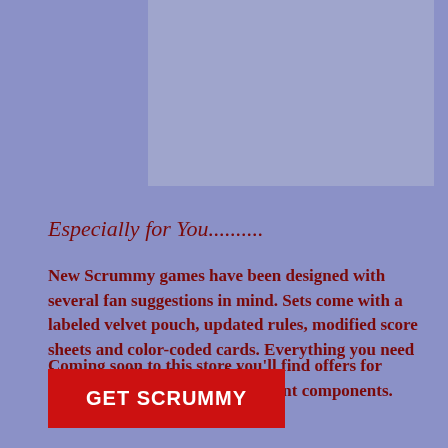[Figure (other): Rectangular image placeholder with muted lavender-gray background at top center of page]
Especially for You..........
New Scrummy games have been designed with several fan suggestions in mind. Sets come with a labeled velvet pouch, updated rules, modified score sheets and color-coded cards. Everything you need for hours of laughter and fun.
Coming soon to this store you'll find offers for other specialty game enhancement components.
GET SCRUMMY